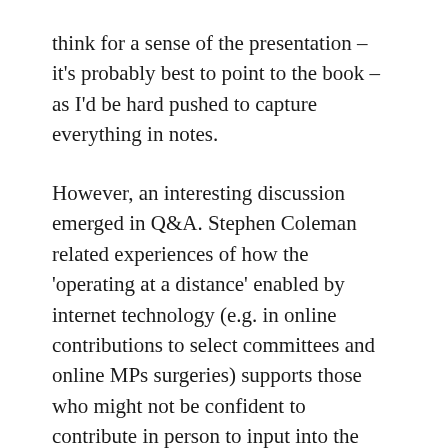think for a sense of the presentation – it's probably best to point to the book – as I'd be hard pushed to capture everything in notes.
However, an interesting discussion emerged in Q&A. Stephen Coleman related experiences of how the 'operating at a distance' enabled by internet technology (e.g. in online contributions to select committees and online MPs surgeries) supports those who might not be confident to contribute in person to input into the political process. I asked afterwards if this applied to young people – with a positive answer. What is most interesting, however, is to look at whether 'operating at a distance' changes the need for worker support. We know